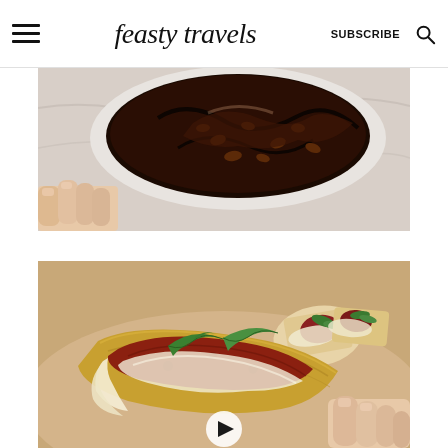feasty travels | SUBSCRIBE
[Figure (photo): Top-down view of a chocolate mug cake or brownie in a white ramekin with melted chocolate chips on top, held by a hand against a marble surface]
[Figure (photo): Close-up of appetizer crackers topped with what appears to be jam/chutney, melted brie cheese, and fresh basil leaves, with a hand holding one piece in the foreground and more pieces on a plate in the background; a video play button is visible at the bottom]